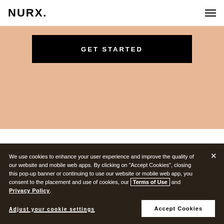[Figure (logo): NURX. logo in bold black uppercase letters]
[Figure (other): Hamburger menu icon with three horizontal lines]
GET STARTED
We use cookies to enhance your user experience and improve the quality of our website and mobile web apps. By clicking on "Accept Cookies", closing this pop-up banner or continuing to use our website or mobile web app, you consent to the placement and use of cookies, our Terms of Use and Privacy Policy.
Adjust your cookie settings
Accept Cookies